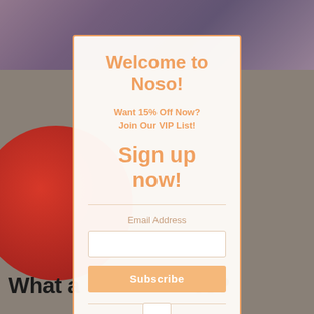[Figure (screenshot): Background showing a colorful top banner with toy-related imagery, a red circular shape on the left, and a dark overlay. Bottom shows partial text 'What a...es?']
Welcome to Noso!
Want 15% Off Now? Join Our VIP List!
Sign up now!
Email Address
Subscribe
What a...es?